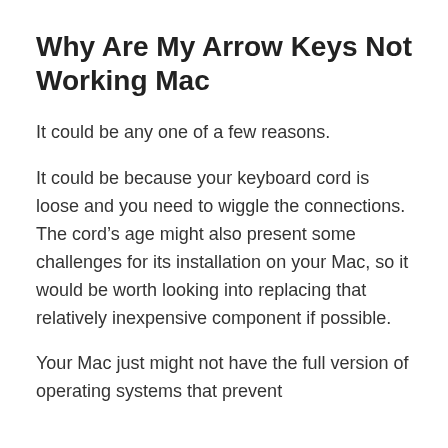Why Are My Arrow Keys Not Working Mac
It could be any one of a few reasons.
It could be because your keyboard cord is loose and you need to wiggle the connections. The cord’s age might also present some challenges for its installation on your Mac, so it would be worth looking into replacing that relatively inexpensive component if possible.
Your Mac just might not have the full version of operating systems that prevent